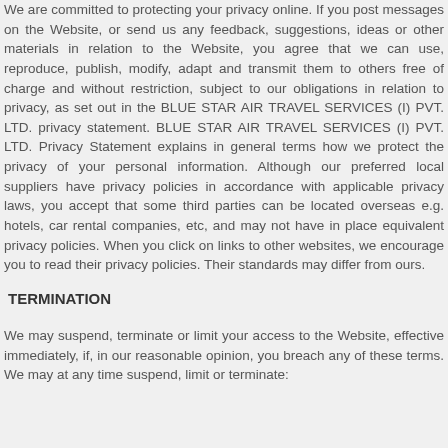We are committed to protecting your privacy online. If you post messages on the Website, or send us any feedback, suggestions, ideas or other materials in relation to the Website, you agree that we can use, reproduce, publish, modify, adapt and transmit them to others free of charge and without restriction, subject to our obligations in relation to privacy, as set out in the BLUE STAR AIR TRAVEL SERVICES (I) PVT. LTD. privacy statement. BLUE STAR AIR TRAVEL SERVICES (I) PVT. LTD. Privacy Statement explains in general terms how we protect the privacy of your personal information. Although our preferred local suppliers have privacy policies in accordance with applicable privacy laws, you accept that some third parties can be located overseas e.g. hotels, car rental companies, etc, and may not have in place equivalent privacy policies. When you click on links to other websites, we encourage you to read their privacy policies. Their standards may differ from ours.
TERMINATION
We may suspend, terminate or limit your access to the Website, effective immediately, if, in our reasonable opinion, you breach any of these terms. We may at any time suspend, limit or terminate: